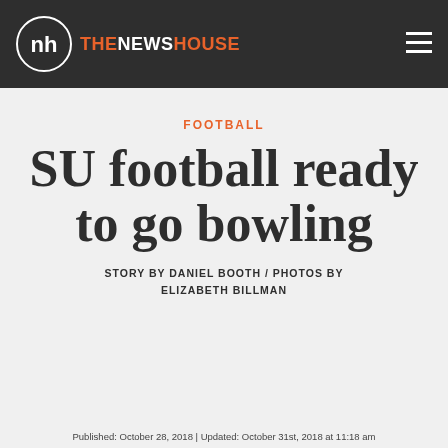THE NEWS HOUSE
FOOTBALL
SU football ready to go bowling
STORY BY DANIEL BOOTH / PHOTOS BY ELIZABETH BILLMAN
Published: October 28, 2018 | Updated: October 31st, 2018 at 11:18 am